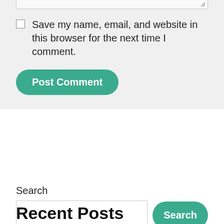Save my name, email, and website in this browser for the next time I comment.
Post Comment
Search
Search
Recent Posts